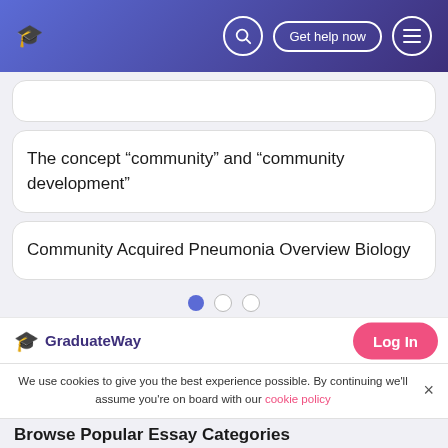GraduateWay — Search | Get help now | Menu
The concept “community” and “community development”
Community Acquired Pneumonia Overview Biology
[Figure (other): Pagination dots: one filled blue dot and two empty circles]
GraduateWay
Log In
We use cookies to give you the best experience possible. By continuing we'll assume you're on board with our cookie policy
Browse Popular Essay Categories